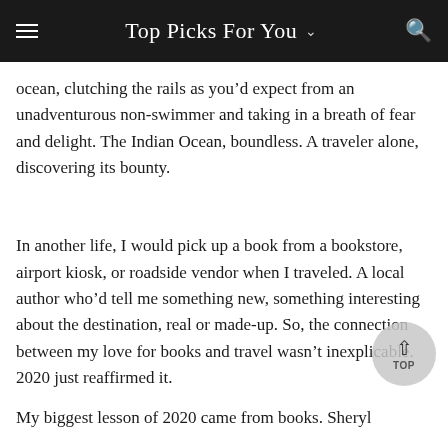Top Picks For You
ocean, clutching the rails as you'd expect from an unadventurous non-swimmer and taking in a breath of fear and delight. The Indian Ocean, boundless. A traveler alone, discovering its bounty.
In another life, I would pick up a book from a bookstore, airport kiosk, or roadside vendor when I traveled. A local author who'd tell me something new, something interesting about the destination, real or made-up. So, the connection between my love for books and travel wasn't inexplicable. 2020 just reaffirmed it.
My biggest lesson of 2020 came from books. Sheryl